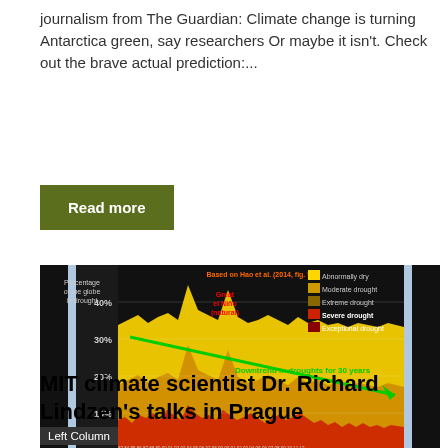journalism from The Guardian: Climate change is turning Antarctica green, say researchers Or maybe it isn't. Check out the brave actual prediction:...
Read more
[Figure (continuous-plot): Area chart showing percentage of the globe in drought from 1983 to 2012. Shows yellow (abnormally dry), tan/gold (moderate drought), dark gold (extreme drought), and red (severe/exceptional drought) stacked areas. A green downward-trending arrow labeled 'Downtrend in droughts for 30 years' runs across the chart. Y-axis shows 10%, 20%, 30%, 40%. Based on Hao et al. (2014, fig. 5). Great el Niño (natural) is labeled. Legend shows Abnormally dry (yellow), Moderate drought (tan), Extreme drought (dark gold), Severe drought (red), Exceptional drought (dark red).]
MIT climate scientist Dr. Richard Lindzen's talks in Prague
Left Column